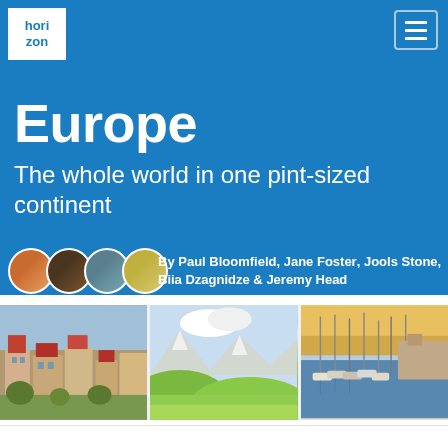[Figure (logo): Horizon travel magazine logo in blue text on white background with blue border]
Europe
The whole world in one pint-sized continent
By Paul Bloomfield, Jane Foster, Jools Stone, Biia Dzagnidze & Jeremy Head
[Figure (photo): Three travel photos side by side: European hillside town, alpine green meadows with mountains, and a marina with sailboats]
Overview | Top Destinations | ...